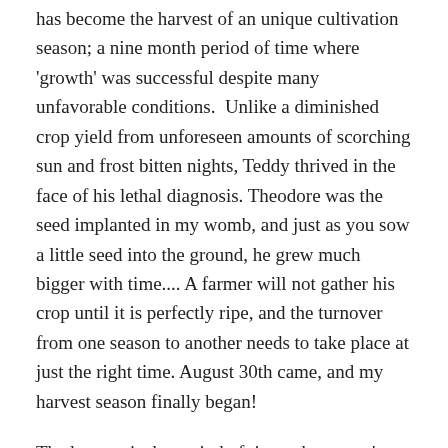has become the harvest of an unique cultivation season; a nine month period of time where 'growth' was successful despite many unfavorable conditions.  Unlike a diminished crop yield from unforeseen amounts of scorching sun and frost bitten nights, Teddy thrived in the face of his lethal diagnosis. Theodore was the seed implanted in my womb, and just as you sow a little seed into the ground, he grew much bigger with time.... A farmer will not gather his crop until it is perfectly ripe, and the turnover from one season to another needs to take place at just the right time. August 30th came, and my harvest season finally began!
The harvest is the period of time where you 'reap what you sow'.  Contrary to the quick perception of it being the most enjoyable season, I'm quickly leaning that it actually requires the most work.  My harvest is beautiful, yet it